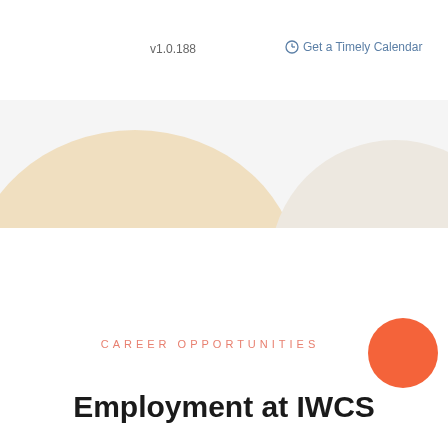[Figure (photo): Hero section with soft beige and white circular blob shapes on a light background, partially covered by a white overlay bar at the top containing version and navigation text.]
v1.0.188
⏱ Get a Timely Calendar
CAREER OPPORTUNITIES
Employment at IWCS